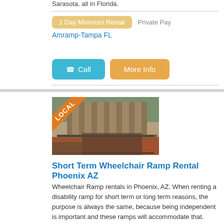Sarasota, all in Florida.
1 Day Minimum Rental   Private Pay
Amramp-Tampa FL
[Figure (photo): Wheelchair ramp installed at the entrance of a building with columns, with a LOCAL ribbon badge overlay in the upper left corner.]
Short Term Wheelchair Ramp Rental Phoenix AZ
Wheelchair Ramp rentals in Phoenix, AZ. When renting a disability ramp for short term or long term reasons, the purpose is always the same, because being independent is important and these ramps will accommodate that. Amramp is a patented, low-cost disability ramp systems. Amramp supplies Wheelchair and Handicap accessible modular ramp rentals to Phoenix, Tucson, Mesa, Chandler, Glendale, Scottsdale, and all of Arizona.